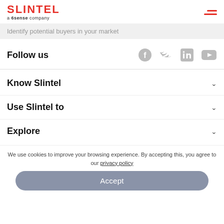SLINTEL a 6sense company
Identify potential buyers in your market
Follow us
[Figure (illustration): Social media icons: Facebook, Twitter, LinkedIn, YouTube — all in gray]
Know Slintel
Use Slintel to
Explore
We use cookies to improve your browsing experience. By accepting this, you agree to our privacy policy
Accept